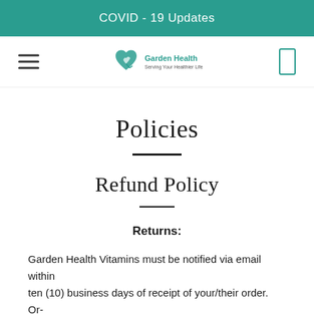COVID - 19 Updates
[Figure (logo): Garden Health logo with teal heart and leaf motif, text reading Garden Health]
Policies
Refund Policy
Returns:
Garden Health Vitamins must be notified via email within ten (10) business days of receipt of your/their order. Or-